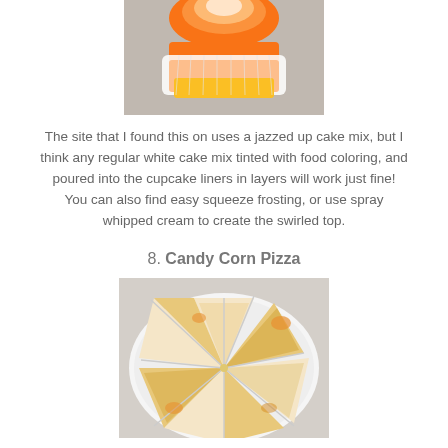[Figure (photo): A candy corn themed cupcake with orange and yellow layered cake visible through a white cupcake liner, with an orange and white swirled frosting top]
The site that I found this on uses a jazzed up cake mix, but I think any regular white cake mix tinted with food coloring, and poured into the cupcake liners in layers will work just fine! You can also find easy squeeze frosting, or use spray whipped cream to create the swirled top.
8. Candy Corn Pizza
[Figure (photo): A candy corn pizza cut into triangular slices arranged on a white plate, with white, yellow, and orange cheese coloring to resemble candy corn]